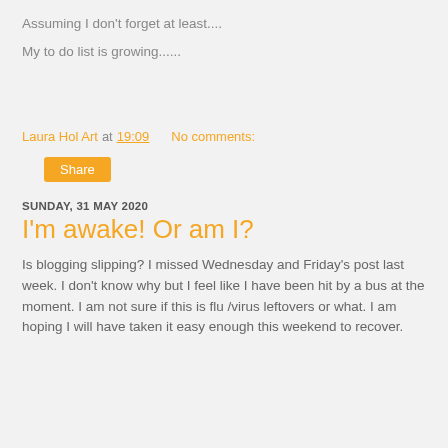Assuming I don't forget at least....
My to do list is growing......
Laura Hol Art at 19:09   No comments:
Share
SUNDAY, 31 MAY 2020
I'm awake! Or am I?
Is blogging slipping? I missed Wednesday and Friday's post last week. I don't know why but I feel like I have been hit by a bus at the moment. I am not sure if this is flu /virus leftovers or what. I am hoping I will have taken it easy enough this weekend to recover.